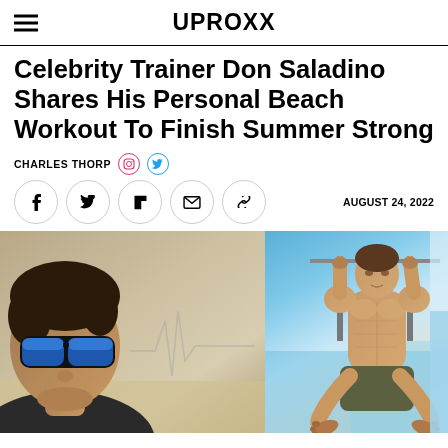UPROXX
Celebrity Trainer Don Saladino Shares His Personal Beach Workout To Finish Summer Strong
CHARLES THORP
AUGUST 24, 2022
[Figure (photo): Composite image: left side shows a close-up of a man wearing blue mirrored sunglasses at a beach; center shows a faint heartbeat/EKG line graphic; right side shows a muscular shirtless man doing a bar exercise at the beach with feet raised]